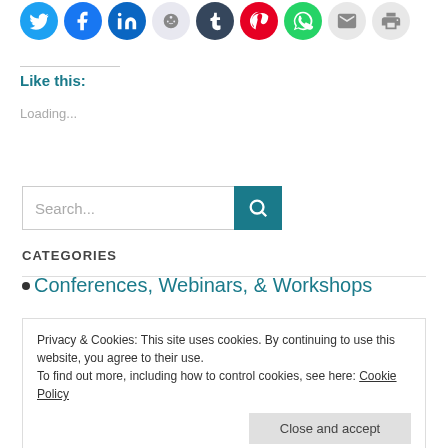[Figure (infographic): Row of circular social sharing icons: Twitter (blue), Facebook (blue), LinkedIn (blue), Reddit (light gray), Tumblr (dark navy), Pinterest (red), WhatsApp (green), Email (light gray), Print (light gray)]
Like this:
Loading...
Search...
CATEGORIES
Conferences, Webinars, & Workshops
Privacy & Cookies: This site uses cookies. By continuing to use this website, you agree to their use.
To find out more, including how to control cookies, see here: Cookie Policy
Close and accept
Operator's Security Toolkit